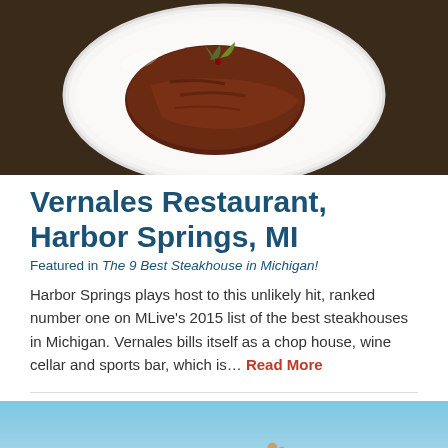[Figure (photo): Close-up photo of a steak dish on a white plate, shot from above on a dark wooden table]
Vernales Restaurant, Harbor Springs, MI
Featured in The 9 Best Steakhouse in Michigan!
Harbor Springs plays host to this unlikely hit, ranked number one on MLive's 2015 list of the best steakhouses in Michigan. Vernales bills itself as a chop house, wine cellar and sports bar, which is... Read More
[Figure (photo): Photo of a person raising their hand with fingers in an OK gesture, against a light blue sky background]